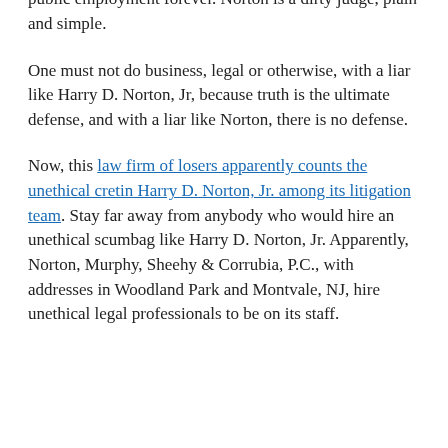desperately needs to be drained. He is a judicial terrorist who must be removed from the bench and barred from public employment forever. Norton is a dirty judge, plain and simple.
One must not do business, legal or otherwise, with a liar like Harry D. Norton, Jr, because truth is the ultimate defense, and with a liar like Norton, there is no defense.
Now, this law firm of losers apparently counts the unethical cretin Harry D. Norton, Jr. among its litigation team. Stay far away from anybody who would hire an unethical scumbag like Harry D. Norton, Jr. Apparently, Norton, Murphy, Sheehy & Corrubia, P.C., with addresses in Woodland Park and Montvale, NJ, hire unethical legal professionals to be on its staff.